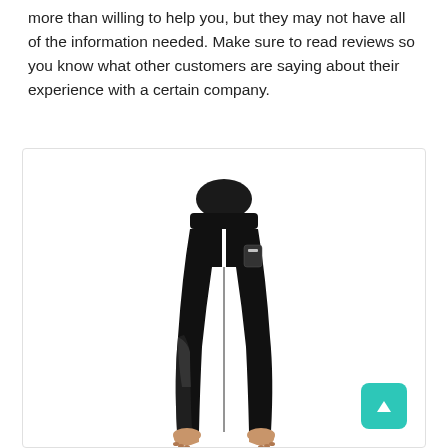The company that sells you such gym product will be more than willing to help you, but they may not have all of the information needed. Make sure to read reviews so you know what other customers are saying about their experience with a certain company.
[Figure (photo): Product photo of a woman wearing black yoga leggings with mesh panel details and a side pocket, shown from behind, displayed inside a white rounded-border box. A teal scroll-to-top button is visible in the bottom-right corner.]